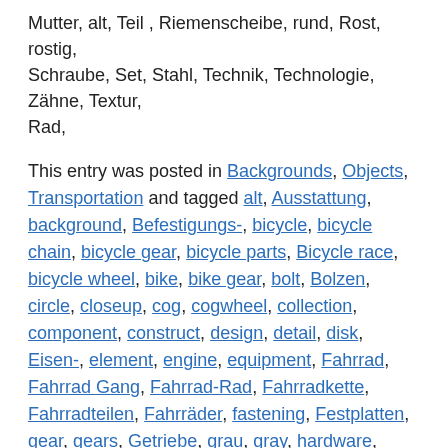Mutter, alt, Teil , Riemenscheibe, rund, Rost, rostig, Schraube, Set, Stahl, Technik, Technologie, Zähne, Textur, Rad,
This entry was posted in Backgrounds, Objects, Transportation and tagged alt, Ausstattung, background, Befestigungs-, bicycle, bicycle chain, bicycle gear, bicycle parts, Bicycle race, bicycle wheel, bike, bike gear, bolt, Bolzen, circle, closeup, cog, cogwheel, collection, component, construct, design, detail, disk, Eisen-, element, engine, equipment, Fahrrad, Fahrrad Gang, Fahrrad-Rad, Fahrradkette, Fahrradteilen, Fahrräder, fastening, Festplatten, gear, gears, Getriebe, grau, gray, hardware, head, Hintergrund, hole, industrial, Industrie-, industry, iron, isolated, isoliert, Komponenten, konstruieren Fahrrad Gang, Kopf, Kreis, loch, machine, machinery, macro, Makro, Maschine, Maschinen, mechanic, mechanical, Mechaniker, mechanisch, mechanism, Mechanismus, metal, Metall, metallic, motor, Mutter, Nahaufnahme, nut, old, part, pulley, Rad, Radrennen, Riemenscheibe, Rost-, rostig, round, rund, rust, rusty, Sammlung,